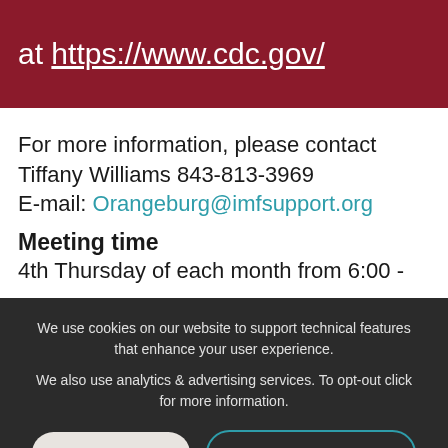at https://www.cdc.gov/
For more information, please contact Tiffany Williams 843-813-3969 E-mail: Orangeburg@imfsupport.org
Meeting time
4th Thursday of each month from 6:00 -
We use cookies on our website to support technical features that enhance your user experience.
We also use analytics & advertising services. To opt-out click for more information.
I'VE READ IT
MORE INFORMATION